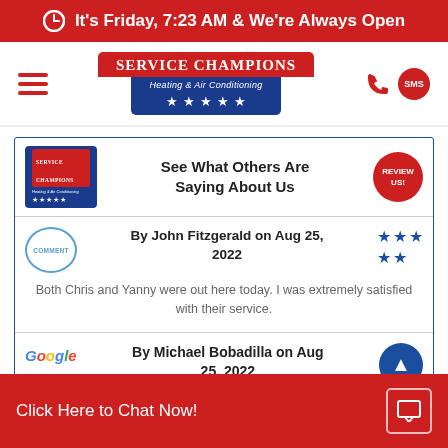It's Friday, 7:23 AM & We're Always Open
[Figure (logo): Service Champions Heating & Air Conditioning logo with 5 stars on blue/red background]
See What Others Are Saying About Us
By John Fitzgerald on Aug 25, 2022
Both Chris and Yanny were out here today. I was extremely satisfied with their service.
By Michael Bobadilla on Aug 25, 2022
Click Here to Chat Now!